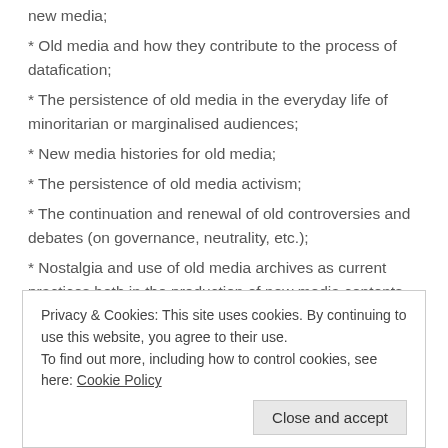* Old media and how they contribute to the process of datafication;
* The persistence of old media in the everyday life of minoritarian or marginalised audiences;
* New media histories for old media;
* The persistence of old media activism;
* The continuation and renewal of old controversies and debates (on governance, neutrality, etc.);
* Nostalgia and use of old media archives as current practices both in the production of new media contents and in the audience consumptions.
* Analog photography, vinyl, tapes and Super8 movies (among
Privacy & Cookies: This site uses cookies. By continuing to use this website, you agree to their use. To find out more, including how to control cookies, see here: Cookie Policy
Close and accept